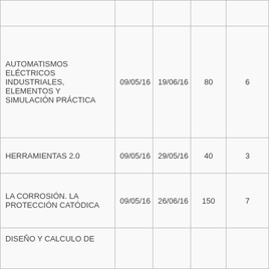|  |  |  |  |  |
| AUTOMATISMOS ELÉCTRICOS INDUSTRIALES, ELEMENTOS Y SIMULACIÓN PRÁCTICA | 09/05/16 | 19/06/16 | 80 | 6 |
| HERRAMIENTAS 2.0 | 09/05/16 | 29/05/16 | 40 | 3 |
| LA CORROSIÓN. LA PROTECCIÓN CATÓDICA | 09/05/16 | 26/06/16 | 150 | 7 |
| DISEÑO Y CALCULO DE |  |  |  |  |